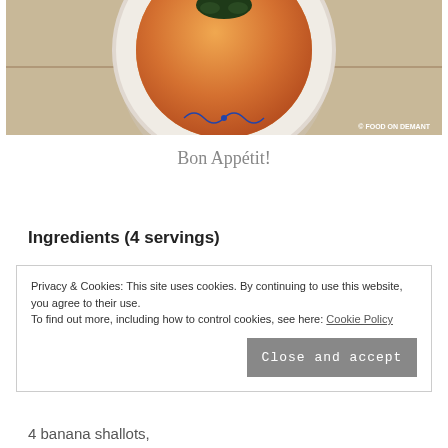[Figure (photo): Top-down view of a white plate with orange soup garnished with dark green herbs, placed on a pinkish-beige tiled surface with a blue decorative motif. Watermark reads '© FOOD ON DEMANT'.]
Bon Appétit!
Ingredients (4 servings)
Privacy & Cookies: This site uses cookies. By continuing to use this website, you agree to their use.
To find out more, including how to control cookies, see here: Cookie Policy
Close and accept
4 banana shallots,